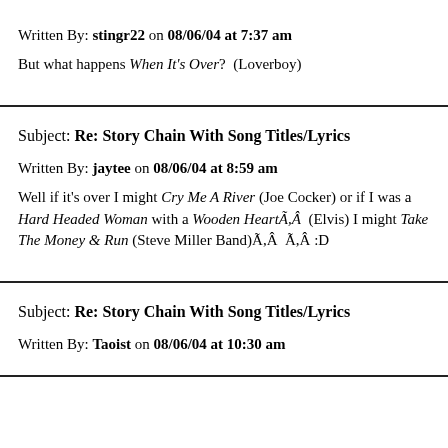Written By: stingr22 on 08/06/04 at 7:37 am
But what happens When It's Over?  (Loverboy)
Subject: Re: Story Chain With Song Titles/Lyrics
Written By: jaytee on 08/06/04 at 8:59 am
Well if it's over I might Cry Me A River (Joe Cocker) or if I was a Hard Headed Woman with a Wooden HeartÃ,Â  (Elvis) I might Take The Money & Run (Steve Miller Band)Ã,Â  Ã,Â :D
Subject: Re: Story Chain With Song Titles/Lyrics
Written By: Taoist on 08/06/04 at 10:30 am